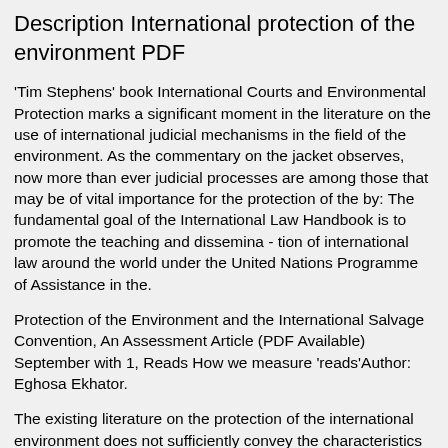Description International protection of the environment PDF
'Tim Stephens' book International Courts and Environmental Protection marks a significant moment in the literature on the use of international judicial mechanisms in the field of the environment. As the commentary on the jacket observes, now more than ever judicial processes are among those that may be of vital importance for the protection of the by: The fundamental goal of the International Law Handbook is to promote the teaching and dissemina - tion of international law around the world under the United Nations Programme of Assistance in the.
Protection of the Environment and the International Salvage Convention, An Assessment Article (PDF Available) September with 1, Reads How we measure 'reads'Author: Eghosa Ekhator.
The existing literature on the protection of the international environment does not sufficiently convey the characteristics of international agreements mentioned above. The traditional contributions on trans-national commons describe countries' environmental interaction as a one-shot Prisoner's Dilemma